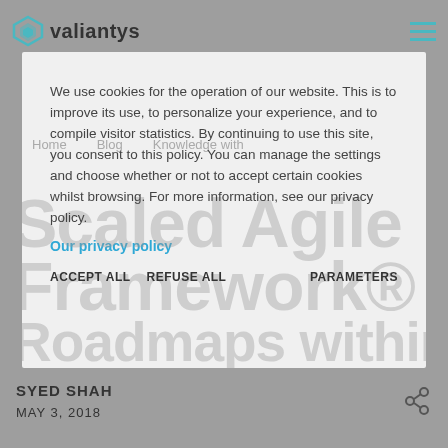valiantys
We use cookies for the operation of our website. This is to improve its use, to personalize your experience, and to compile visitor statistics. By continuing to use this site, you consent to this policy. You can manage the settings and choose whether or not to accept certain cookies whilst browsing. For more information, see our privacy policy.
Our privacy policy
ACCEPT ALL   REFUSE ALL   PARAMETERS
SYED SHAH
MAY 3, 2018